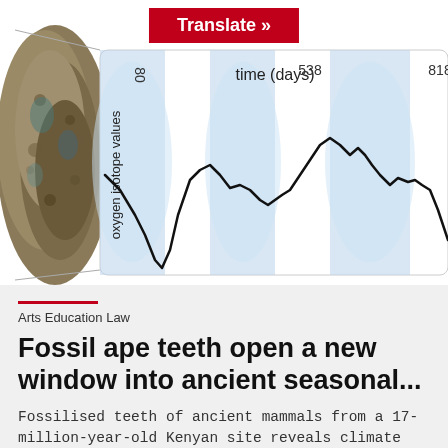[Figure (continuous-plot): Oxygen isotope values vs time (days) line chart with blue shaded seasonal bands, showing oscillating pattern from approximately day 80 to 818. A fossil ape tooth specimen photo appears on the left side.]
Translate »
Arts Education Law
Fossil ape teeth open a new window into ancient seasonal...
Fossilised teeth of ancient mammals from a 17-million-year-old Kenyan site reveals climate variability.